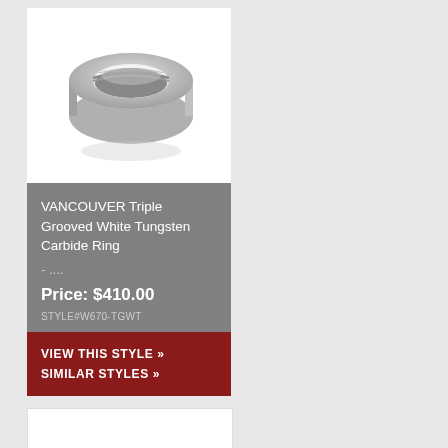[Figure (photo): A tungsten carbide ring with triple grooves, silver/white finish, shown at an angle on white background]
VANCOUVER Triple Grooved White Tungsten Carbide Ring
- ....
Price: $410.00
STYLE#W670-TGWT
VIEW THIS STYLE »
SIMILAR STYLES »